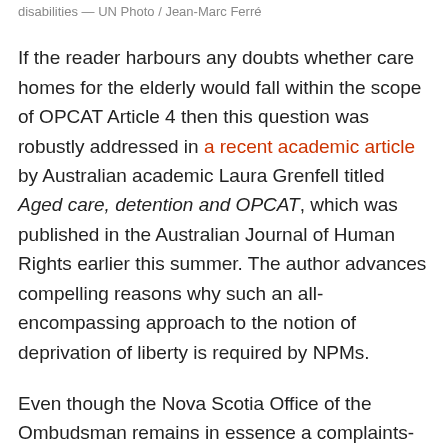disabilities — UN Photo / Jean-Marc Ferré
If the reader harbours any doubts whether care homes for the elderly would fall within the scope of OPCAT Article 4 then this question was robustly addressed in a recent academic article by Australian academic Laura Grenfell titled Aged care, detention and OPCAT, which was published in the Australian Journal of Human Rights earlier this summer. The author advances compelling reasons why such an all-encompassing approach to the notion of deprivation of liberty is required by NPMs.
Even though the Nova Scotia Office of the Ombudsman remains in essence a complaints-handling body (as opposed to an NPM), its broader approach to the concept of deprivation of liberty should be noted.